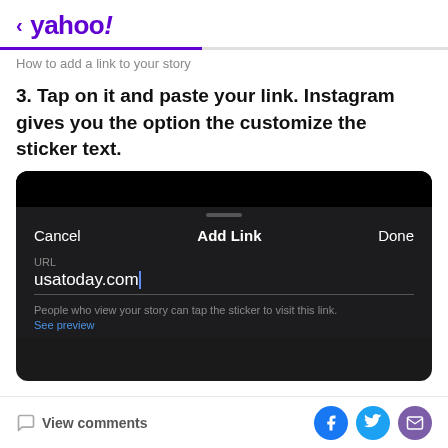< yahoo!
How to add a link to your story
3. Tap on it and paste your link. Instagram gives you the option the customize the sticker text.
[Figure (screenshot): Mobile Instagram 'Add Link' dialog showing URL field with 'usatoday.com' entered, Cancel and Done buttons, and helper text 'People who view your story can tap the sticker to visit this link. See preview']
View comments